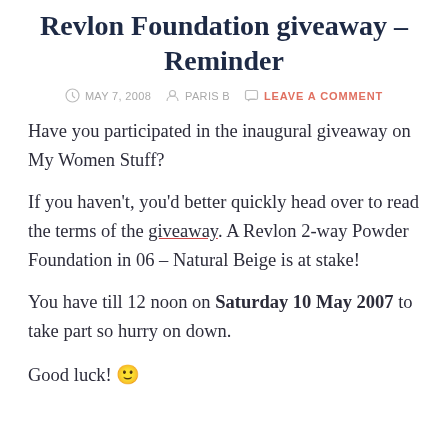Revlon Foundation giveaway – Reminder
MAY 7, 2008   PARIS B   LEAVE A COMMENT
Have you participated in the inaugural giveaway on My Women Stuff?
If you haven't, you'd better quickly head over to read the terms of the giveaway. A Revlon 2-way Powder Foundation in 06 – Natural Beige is at stake!
You have till 12 noon on Saturday 10 May 2007 to take part so hurry on down.
Good luck! 🙂